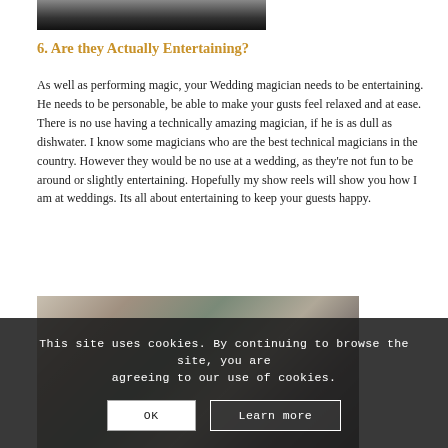[Figure (photo): Black and white photo of a person, partially visible at top of page]
6. Are they Actually Entertaining?
As well as performing magic, your Wedding magician needs to be entertaining. He needs to be personable, be able to make your gusts feel relaxed and at ease. There is no use having a technically amazing magician, if he is as dull as dishwater. I know some magicians who are the best technical magicians in the country. However they would be no use at a wedding, as they're not fun to be around or slightly entertaining. Hopefully my show reels will show you how I am at weddings. Its all about entertaining to keep your guests happy.
[Figure (photo): Color photo of people at a wedding event, including a man in a suit on the right side]
This site uses cookies. By continuing to browse the site, you are agreeing to our use of cookies.